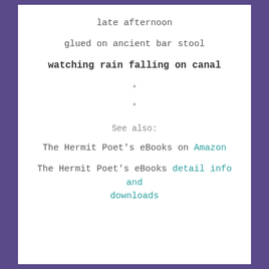late afternoon
glued on ancient bar stool
watching rain falling on canal
*
*
See also:
The Hermit Poet's eBooks on Amazon
The Hermit Poet's eBooks detail info and downloads